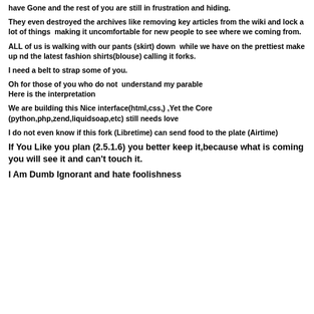have Gone and the rest of you are still in frustration and hiding.
They even destroyed the archives like removing key articles from the wiki and lock a lot of things  making it uncomfortable for new people to see where we coming from.
ALL of us is walking with our pants (skirt) down  while we have on the prettiest make up nd the latest fashion shirts(blouse) calling it forks.
I need a belt to strap some of you.
Oh for those of you who do not  understand my parable
Here is the interpretation
We are building this Nice interface(html,css,) ,Yet the Core (python,php,zend,liquidsoap,etc) still needs love
I do not even know if this fork (Libretime) can send food to the plate (Airtime)
If You Like you plan (2.5.1.6) you better keep it,because what is coming you will see it and can't touch it.
I Am Dumb Ignorant and hate foolishness